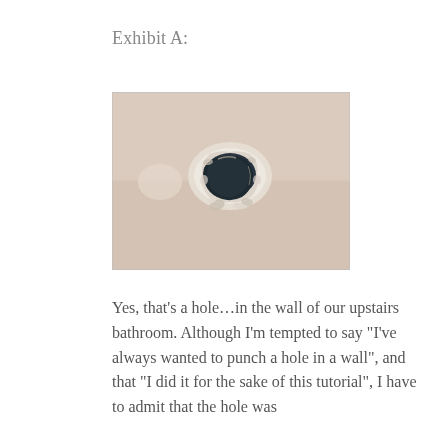Exhibit A:
[Figure (photo): Photograph of a hole punched through a drywall surface in what appears to be an upstairs bathroom wall. The hole is roughly oval/irregular shaped in the center, with cracked and crumbling drywall edges. The wall color is a pinkish-beige. The interior of the hole is dark, showing the void behind the drywall.]
Yes, that’s a hole…in the wall of our upstairs bathroom. Although I’m tempted to say “I’ve always wanted to punch a hole in a wall”, and that “I did it for the sake of this tutorial”, I have to admit that the hole was